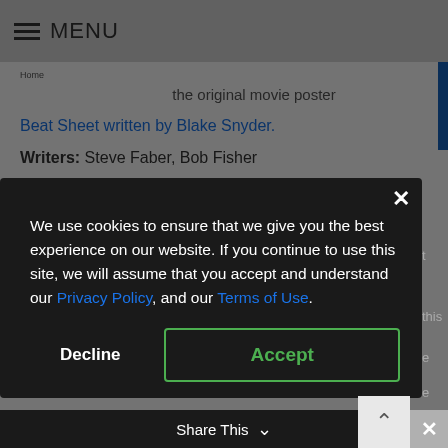MENU
the original movie poster
Beat Sheet written by Blake Snyder.
Writers: Steve Faber, Bob Fisher
Director: [partially visible]
[Figure (screenshot): Cookie consent modal dialog on dark overlay. Text: 'We use cookies to ensure that we give you the best experience on our website. If you continue to use this site, we will assume that you accept and understand our Privacy Policy, and our Terms of Use.' Buttons: Decline, Accept. Share This bar at bottom.]